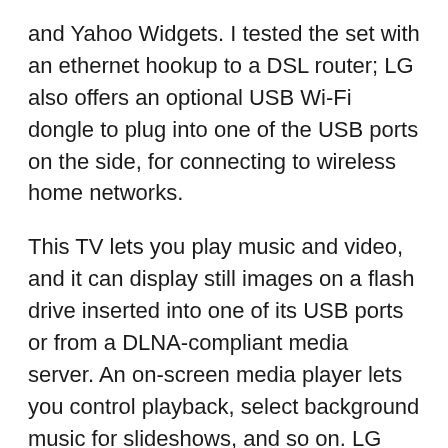and Yahoo Widgets. I tested the set with an ethernet hookup to a DSL router; LG also offers an optional USB Wi-Fi dongle to plug into one of the USB ports on the side, for connecting to wireless home networks.
This TV lets you play music and video, and it can display still images on a flash drive inserted into one of its USB ports or from a DLNA-compliant media server. An on-screen media player lets you control playback, select background music for slideshows, and so on. LG provides detailed lists of supported codecs in its PDF manual. You can register the LE8500 as a DivX device, after which it can play DivX-protected content.
The audio system was a joy to hear. The surround sound for the Phantom of the Opera Blu-ray Disc,